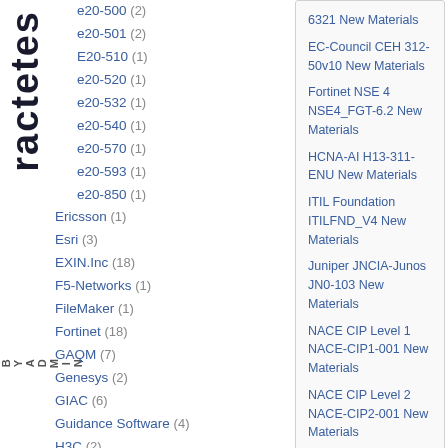e20-500 (2)
e20-501 (2)
E20-510 (1)
e20-520 (1)
e20-532 (1)
e20-540 (1)
e20-570 (1)
e20-593 (1)
e20-850 (1)
Ericsson (1)
Esri (3)
EXIN.Inc (18)
F5-Networks (1)
FileMaker (1)
Fortinet (18)
GAQM (7)
Genesys (2)
GIAC (6)
Guidance Software (4)
H3C (2)
HDI (2)
Hitachi (9)
6321 New Materials
EC-Council CEH 312-50v10 New Materials
Fortinet NSE 4 NSE4_FGT-6.2 New Materials
HCNA-AI H13-311-ENU New Materials
ITIL Foundation ITILFND_V4 New Materials
Juniper JNCIA-Junos JN0-103 New Materials
NACE CIP Level 1 NACE-CIP1-001 New Materials
NACE CIP Level 2 NACE-CIP2-001 New Materials
NewApp NCDA ONTAP NS0-161 New Materials
META
Log in
WordPress